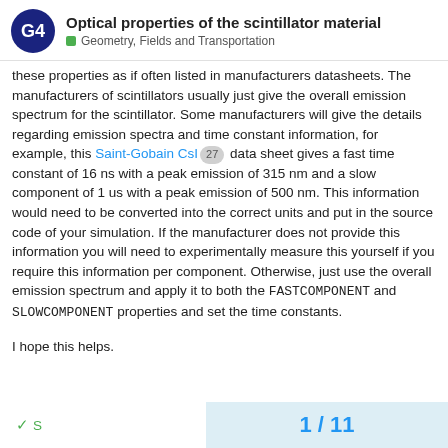Optical properties of the scintillator material — Geometry, Fields and Transportation
these properties as if often listed in manufacturers datasheets. The manufacturers of scintillators usually just give the overall emission spectrum for the scintillator. Some manufacturers will give the details regarding emission spectra and time constant information, for example, this Saint-Gobain CsI [27] data sheet gives a fast time constant of 16 ns with a peak emission of 315 nm and a slow component of 1 us with a peak emission of 500 nm. This information would need to be converted into the correct units and put in the source code of your simulation. If the manufacturer does not provide this information you will need to experimentally measure this yourself if you require this information per component. Otherwise, just use the overall emission spectrum and apply it to both the FASTCOMPONENT and SLOWCOMPONENT properties and set the time constants.
I hope this helps.
S | 1 / 11